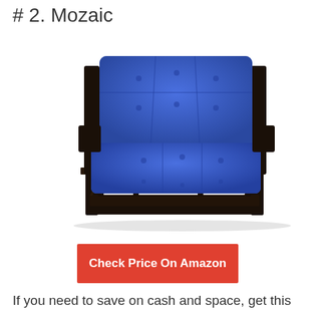# 2. Mozaic
[Figure (photo): A futon sofa with dark wooden frame and royal blue padded mattress/cushion, shown in couch position]
Check Price On Amazon
If you need to save on cash and space, get this Mozaic futon mattress and you will never think back! Mozaic offers high-quality,